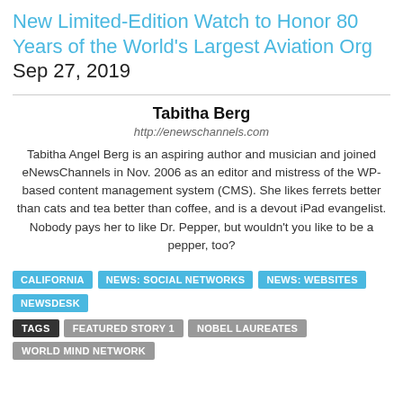New Limited-Edition Watch to Honor 80 Years of the World's Largest Aviation Org Sep 27, 2019
Tabitha Berg
http://enewschannels.com
Tabitha Angel Berg is an aspiring author and musician and joined eNewsChannels in Nov. 2006 as an editor and mistress of the WP-based content management system (CMS). She likes ferrets better than cats and tea better than coffee, and is a devout iPad evangelist. Nobody pays her to like Dr. Pepper, but wouldn't you like to be a pepper, too?
CALIFORNIA
NEWS: SOCIAL NETWORKS
NEWS: WEBSITES
NEWSDESK
TAGS FEATURED STORY 1 NOBEL LAUREATES
WORLD MIND NETWORK